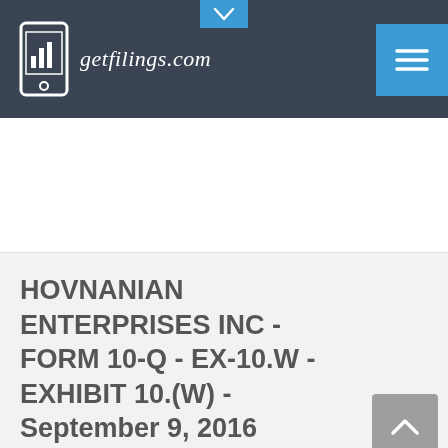getfilings.com
HOVNANIAN ENTERPRISES INC - FORM 10-Q - EX-10.W - EXHIBIT 10.(W) - September 9, 2016